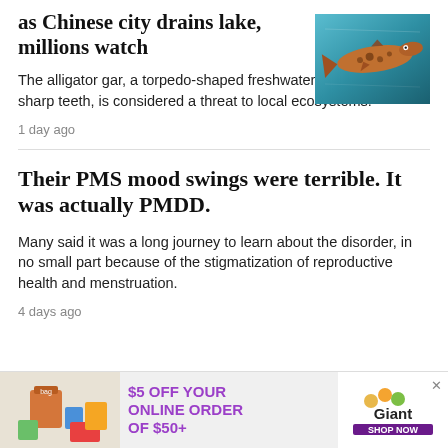as Chinese city drains lake, millions watch
[Figure (photo): Alligator gar fish, torpedo-shaped, photographed underwater against teal/blue background]
The alligator gar, a torpedo-shaped freshwater fish with razor-sharp teeth, is considered a threat to local ecosystems.
1 day ago
Their PMS mood swings were terrible. It was actually PMDD.
Many said it was a long journey to learn about the disorder, in no small part because of the stigmatization of reproductive health and menstruation.
4 days ago
[Figure (infographic): Advertisement banner: $5 OFF YOUR ONLINE ORDER OF $50+ — Giant grocery store ad with groceries image and Shop Now button]